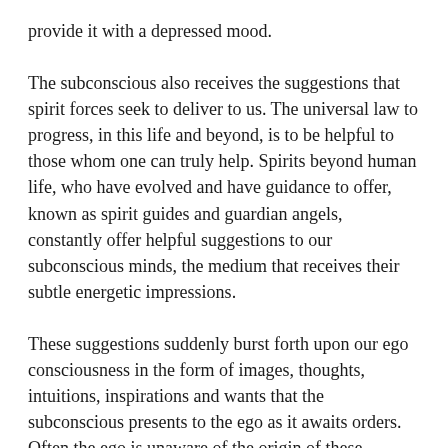provide it with a depressed mood.
The subconscious also receives the suggestions that spirit forces seek to deliver to us. The universal law to progress, in this life and beyond, is to be helpful to those whom one can truly help. Spirits beyond human life, who have evolved and have guidance to offer, known as spirit guides and guardian angels, constantly offer helpful suggestions to our subconscious minds, the medium that receives their subtle energetic impressions.
These suggestions suddenly burst forth upon our ego consciousness in the form of images, thoughts, intuitions, inspirations and wants that the subconscious presents to the ego as it awaits orders. Often the ego is unaware of the origin of these offerings ushered upon consciousness by the subconscious acting as medium to spirit.
Frequently, the ego takes credit for these creations in an